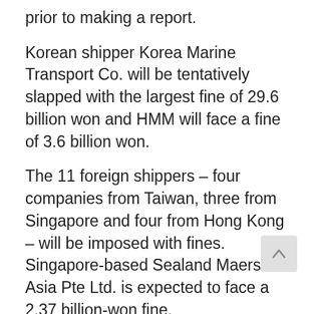prior to making a report.
Korean shipper Korea Marine Transport Co. will be tentatively slapped with the largest fine of 29.6 billion won and HMM will face a fine of 3.6 billion won.
The 11 foreign shippers – four companies from Taiwan, three from Singapore and four from Hong Kong – will be imposed with fines. Singapore-based Sealand Maersk Asia Pte Ltd. is expected to face a 2.37 billion-won fine.
But the total amount of the fine was far smaller than earlier expected as the regulator has decided not to impose a fine for their collusion on import routes, citing its limited impact.
In May, the FTC informed the shippers in a review